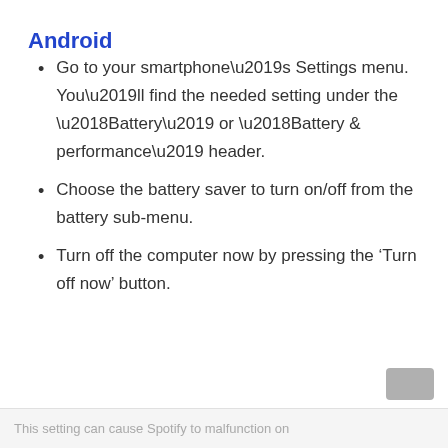Android
Go to your smartphone’s Settings menu. You’ll find the needed setting under the ‘Battery’ or ‘Battery & performance’ header.
Choose the battery saver to turn on/off from the battery sub-menu.
Turn off the computer now by pressing the ‘Turn off now’ button.
This setting can cause Spotify to malfunction on